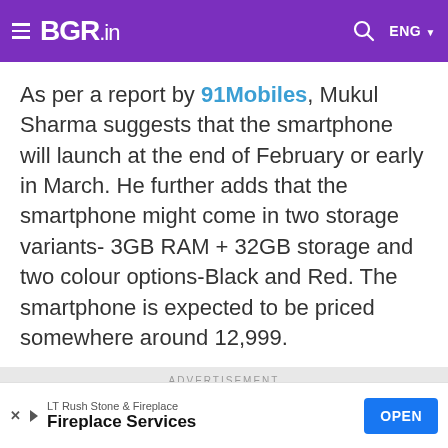BGR.in
As per a report by 91Mobiles, Mukul Sharma suggests that the smartphone will launch at the end of February or early in March. He further adds that the smartphone might come in two storage variants- 3GB RAM + 32GB storage and two colour options-Black and Red. The smartphone is expected to be priced somewhere around 12,999.
ADVERTISEMENT
[Figure (other): Advertisement placeholder box]
LT Rush Stone & Fireplace
Fireplace Services
OPEN